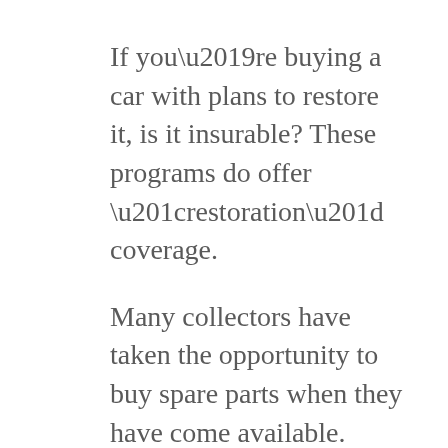If you’re buying a car with plans to restore it, is it insurable? These programs do offer “restoration” coverage.
Many collectors have taken the opportunity to buy spare parts when they have come available. Should damage or loss occur to these spare parts most of the special carriers offer coverage for your spare parts. It may start with a limit such as $500 that is included with your program